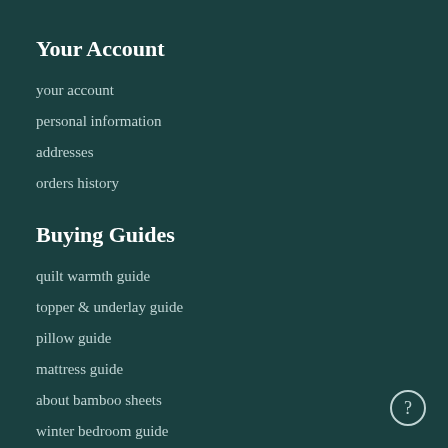Your Account
your account
personal information
addresses
orders history
Buying Guides
quilt warmth guide
topper & underlay guide
pillow guide
mattress guide
about bamboo sheets
winter bedroom guide